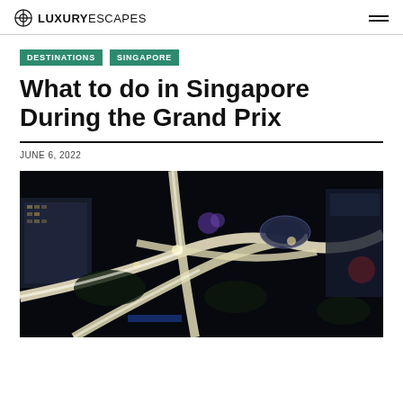LUXURY ESCAPES
DESTINATIONS
SINGAPORE
What to do in Singapore During the Grand Prix
JUNE 6, 2022
[Figure (photo): Aerial night view of the Singapore Grand Prix street circuit, showing the illuminated race track winding through the city with buildings and the Esplanade theatre visible]